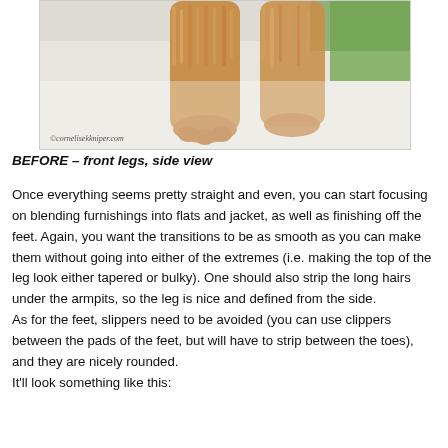[Figure (photo): Close-up photograph of a dog's front legs and paws from the side view, showing golden/tan fluffy fur on a white surface. Watermark text reads ©cornelisekkniper.com]
BEFORE – front legs, side view
Once everything seems pretty straight and even, you can start focusing on blending furnishings into flats and jacket, as well as finishing off the feet. Again, you want the transitions to be as smooth as you can make them without going into either of the extremes (i.e. making the top of the leg look either tapered or bulky). One should also strip the long hairs under the armpits, so the leg is nice and defined from the side.
As for the feet, slippers need to be avoided (you can use clippers between the pads of the feet, but will have to strip between the toes), and they are nicely rounded.
It'll look something like this: